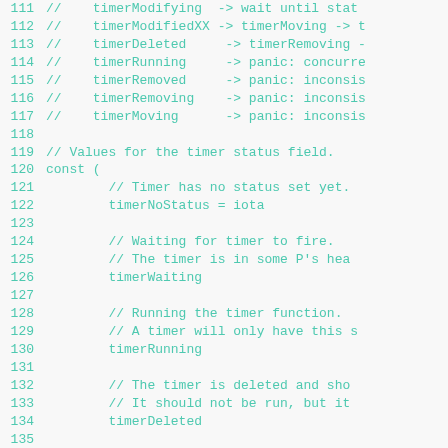Code snippet lines 111-135 showing Go timer status constants and comments
111 //    timerModifying  -> wait until stat
112 //    timerModifiedXX -> timerMoving -> t
113 //    timerDeleted    -> timerRemoving ->
114 //    timerRunning    -> panic: concurre
115 //    timerRemoved    -> panic: inconsis
116 //    timerRemoving   -> panic: inconsis
117 //    timerMoving     -> panic: inconsis
118
119 // Values for the timer status field.
120 const (
121         // Timer has no status set yet.
122         timerNoStatus = iota
123
124         // Waiting for timer to fire.
125         // The timer is in some P's heap
126         timerWaiting
127
128         // Running the timer function.
129         // A timer will only have this s
130         timerRunning
131
132         // The timer is deleted and sho
133         // It should not be run, but it
134         timerDeleted
135